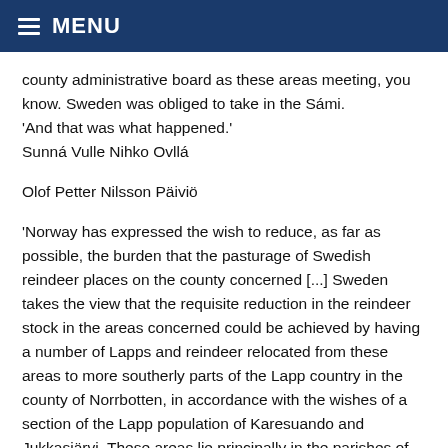≡ MENU
county administrative board as these areas meeting, you know. Sweden was obliged to take in the Sámi.
'And that was what happened.'
Sunná Vulle Nihko Ovllá
Olof Petter Nilsson Päiviö
'Norway has expressed the wish to reduce, as far as possible, the burden that the pasturage of Swedish reindeer places on the county concerned [...] Sweden takes the view that the requisite reduction in the reindeer stock in the areas concerned could be achieved by having a number of Lapps and reindeer relocated from these areas to more southerly parts of the Lapp country in the county of Norrbotten, in accordance with the wishes of a section of the Lapp population of Karesuando and Jukkasjärvi. These areas lie principally in the parishes of Jokkmokk and Arjeplog, where it appears that there is sufficient room for the people concerned.'